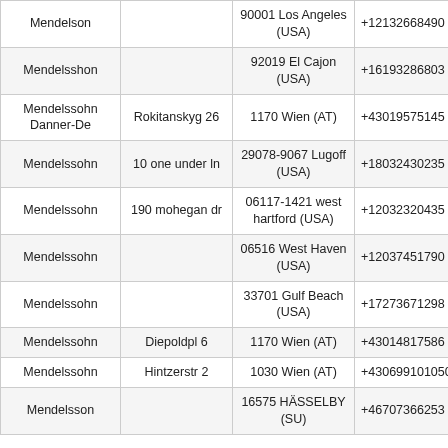| Name | Street | City/Zip | Phone |
| --- | --- | --- | --- |
| Mendelson |  | 90001 Los Angeles (USA) | +12132668490 |
| Mendelsshon |  | 92019 El Cajon (USA) | +16193286803 |
| Mendelssohn Danner-De | Rokitanskyg 26 | 1170 Wien (AT) | +43019575145 |
| Mendelssohn | 10 one under ln | 29078-9067 Lugoff (USA) | +18032430235 |
| Mendelssohn | 190 mohegan dr | 06117-1421 west hartford (USA) | +12032320435 |
| Mendelssohn |  | 06516 West Haven (USA) | +12037451790 |
| Mendelssohn |  | 33701 Gulf Beach (USA) | +17273671298 |
| Mendelssohn | Diepoldpl 6 | 1170 Wien (AT) | +43014817586 |
| Mendelssohn | Hintzerstr 2 | 1030 Wien (AT) | +43069910105088 |
| Mendelsson |  | 16575 HÄSSELBY (SU) | +46707366253 |